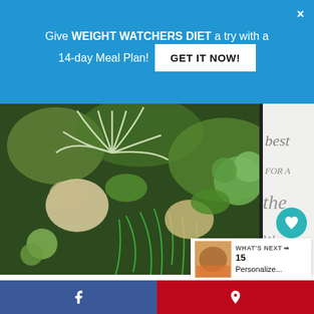Give WEIGHT WATCHERS DIET a try with a 14-day Meal Plan! GET IT NOW!
[Figure (photo): Close-up photo of a vertical garden / plant wall featuring succulents, air plants, moss, and various green plants. On the right side, a framed sign with cursive text is partially visible.]
11
WHAT'S NEXT → 15 Personalize...
f
P